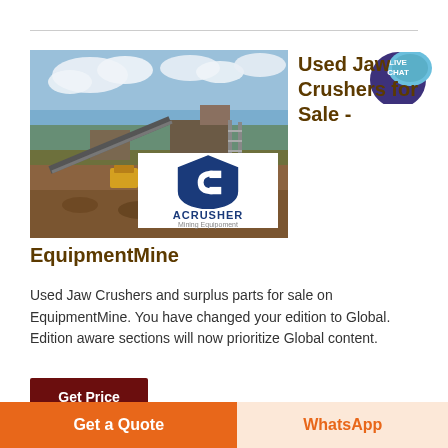[Figure (photo): Mining/quarry site with conveyor belt machinery and structures, overlaid with ACRUSHER Mining Equipment logo]
Used Jaw Crushers for Sale -
EquipmentMine
Used Jaw Crushers and surplus parts for sale on EquipmentMine. You have changed your edition to Global. Edition aware sections will now prioritize Global content.
Get Price
Get a Quote
WhatsApp